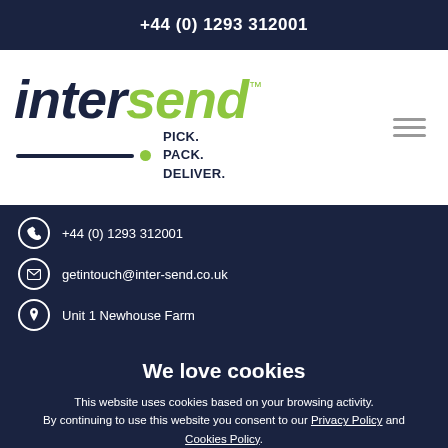+44 (0) 1293 312001
[Figure (logo): Intersend logo with 'inter' in dark navy and 'send' in lime green, italic bold font, with TM superscript, underline with dot, and tagline PICK. PACK. DELIVER.]
+44 (0) 1293 312001
getintouch@inter-send.co.uk
Unit 1 Newhouse Farm
We love cookies
This website uses cookies based on your browsing activity. By continuing to use this website you consent to our Privacy Policy and Cookies Policy.
ACCEPT